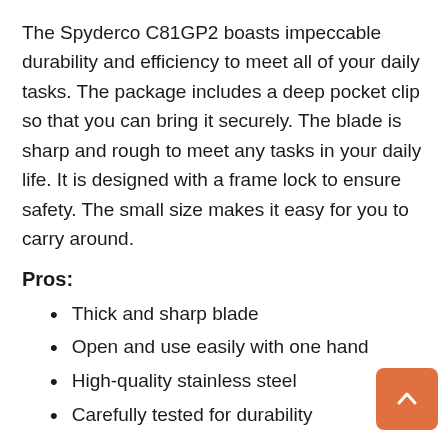The Spyderco C81GP2 boasts impeccable durability and efficiency to meet all of your daily tasks. The package includes a deep pocket clip so that you can bring it securely. The blade is sharp and rough to meet any tasks in your daily life. It is designed with a frame lock to ensure safety. The small size makes it easy for you to carry around.
Pros:
Thick and sharp blade
Open and use easily with one hand
High-quality stainless steel
Carefully tested for durability